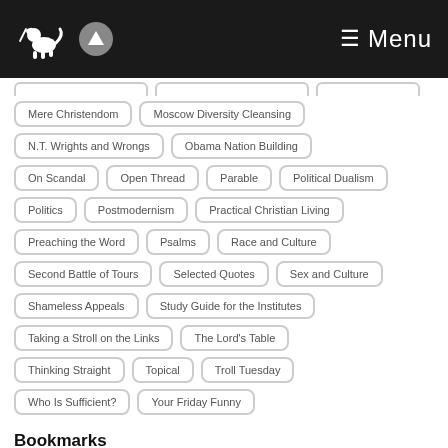Menu
Mere Christendom
Moscow Diversity Cleansing
N.T. Wrights and Wrongs
Obama Nation Building
On Scandal
Open Thread
Parable
Political Dualism
Politics
Postmodernism
Practical Christian Living
Preaching the Word
Psalms
Race and Culture
Second Battle of Tours
Selected Quotes
Sex and Culture
Shameless Appeals
Study Guide for the Institutes
Taking a Stroll on the Links
The Lord's Table
Thinking Straight
Topical
Troll Tuesday
Who Is Sufficient?
Your Friday Funny
Bookmarks